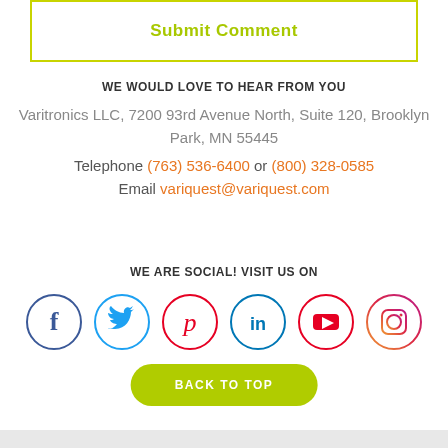[Figure (other): Submit Comment button with yellow-green border and text]
WE WOULD LOVE TO HEAR FROM YOU
Varitronics LLC, 7200 93rd Avenue North, Suite 120, Brooklyn Park, MN 55445
Telephone (763) 536-6400 or (800) 328-0585
Email variquest@variquest.com
WE ARE SOCIAL! VISIT US ON
[Figure (other): Social media icons: Facebook, Twitter, Pinterest, LinkedIn, YouTube, Instagram]
BACK TO TOP